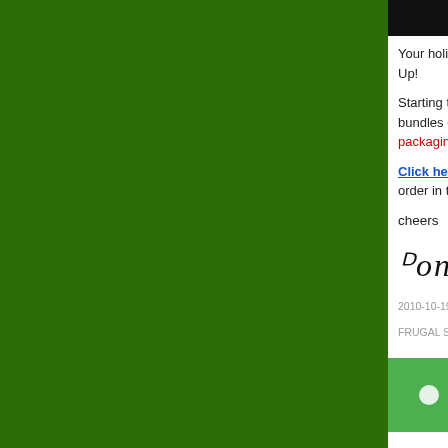[Figure (photo): Dark/black image at top of right panel]
Your holiday decor... Up!
Starting today, Oct... bundles containing... packaging, and Ch...
Click here to see t... order in time to cre...
cheers
[Figure (illustration): Handwritten signature reading 'Donna']
2010-10-19 5:00:00
FRUGAL STAMPER...
Com...
Just giving you a h...